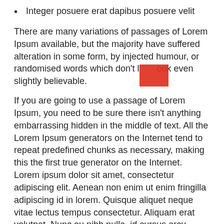Integer posuere erat dapibus posuere velit
There are many variations of passages of Lorem Ipsum available, but the majority have suffered alteration in some form, by injected humour, or randomised words which don't look even slightly believable.
If you are going to use a passage of Lorem Ipsum, you need to be sure there isn't anything embarrassing hidden in the middle of text. All the Lorem Ipsum generators on the Internet tend to repeat predefined chunks as necessary, making this the first true generator on the Internet. Lorem ipsum dolor sit amet, consectetur adipiscing elit. Aenean non enim ut enim fringilla adipiscing id in lorem. Quisque aliquet neque vitae lectus tempus consectetur. Aliquam erat volutpat. Nunc eu nibh nulla, id cursus arcu.
Nam liber tempor cum soluta nobis eleifend option congue nihil imperdiet doming id quod mazim placerat facer possim assum. Typi non habent claritatem insitam; est usus legentis in iis qui facit eorum claritatem. Investigationes demonstraverunt lectores legere me lius quod ii legunt saepius. Claritas est etiam processus dynamicus, qui sequitur mutationem consuetudium lectorum.